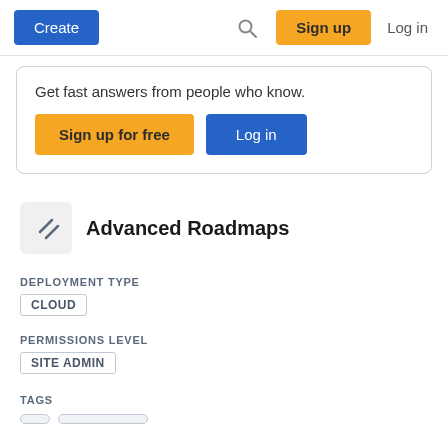Create | Sign up | Log in
Get fast answers from people who know.
Sign up for free  Log in
Advanced Roadmaps
DEPLOYMENT TYPE
CLOUD
PERMISSIONS LEVEL
SITE ADMIN
TAGS